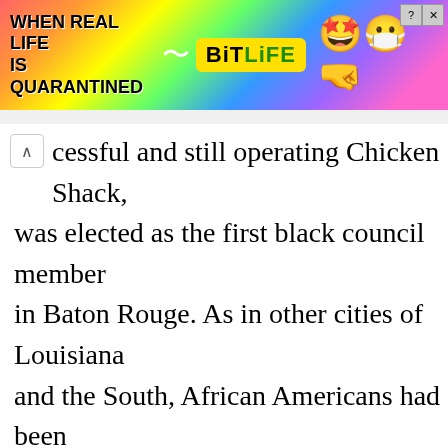[Figure (screenshot): BitLife mobile game advertisement banner with rainbow background, text 'WHEN REAL LIFE IS QUARANTINED' and BitLife logo with emoji characters]
cessful and still operating Chicken Shack, was elected as the first black council member in Baton Rouge. As in other cities of Louisiana and the South, African Americans had been largely disenfranchised for decades into the 20th century.[105] The Chicken Shack, with multiple locations, in 2015 was reported as the oldest continually operating business in Baton Rouge.[106]